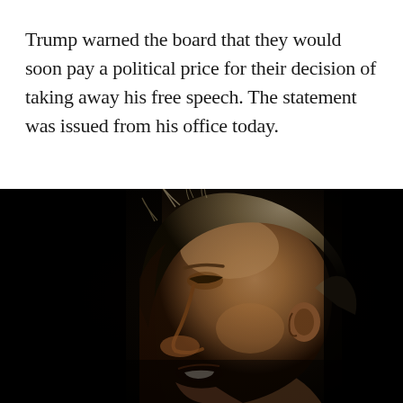Trump warned the board that they would soon pay a political price for their decision of taking away his free speech. The statement was issued from his office today.
[Figure (photo): Dark, dramatic profile photograph of a man (Donald Trump) viewed from the left side, mouth open, with distinctive blonde/grey hair, against a black background.]